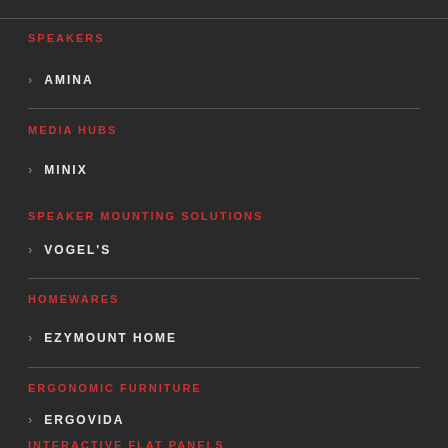SPEAKERS
AMINA
MEDIA HUBS
MINIX
SPEAKER MOUNTING SOLUTIONS
VOGEL'S
HOMEWARES
EZYMOUNT HOME
ERGONOMIC FURNITURE
ERGOVIDA
INTERACTIVE FLAT PANELS